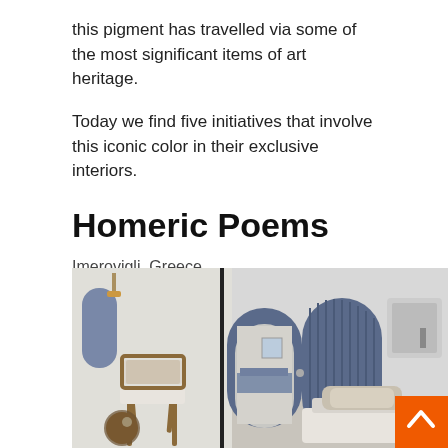this pigment has travelled via some of the most significant items of art heritage.
Today we find five initiatives that involve this iconic color in their exclusive interiors.
Homeric Poems
Imerovigli, Greece
by Interior Layout Laboratorium
[Figure (photo): Interior room of Homeric Poems property in Imerovigli, Greece. Shows white arched walls, a wooden armchair with white cushion, blue arched doorways/panels, and a seating area with blue cushions in the background. An orange back-to-top button appears in the lower right corner.]